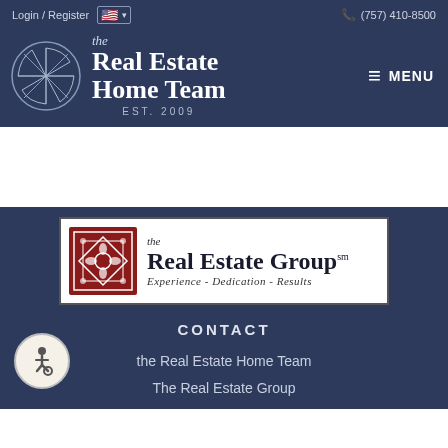Login / Register  🇺🇸 ▾  (757) 410-8500
the Real Estate Home Team EST. 2009
[Figure (logo): The Real Estate Group logo with ornamental red square icon and text 'Experience - Dedication - Results']
CONTACT
the Real Estate Home Team
The Real Estate Group